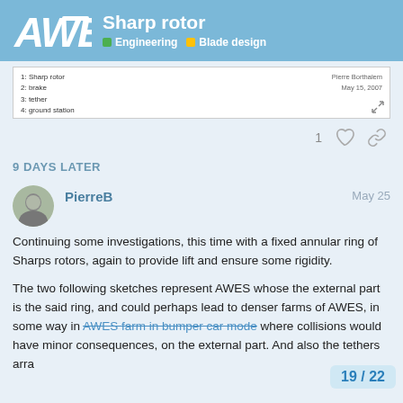Sharp rotor | Engineering | Blade design
[Figure (screenshot): Embedded image preview showing labeled diagram items: 1: Sharp rotor, 2: brake, 3: tether, 4: ground station. Author: Pierre Borthalem, May 15, 2007]
1  ♡  🔗
9 DAYS LATER
PierreB  May 25
Continuing some investigations, this time with a fixed annular ring of Sharps rotors, again to provide lift and ensure some rigidity.
The two following sketches represent AWES whose the external part is the said ring, and could perhaps lead to denser farms of AWES, in some way in AWES farm in bumper car mode where collisions would have minor consequences, on the external part. And also the tethers arra